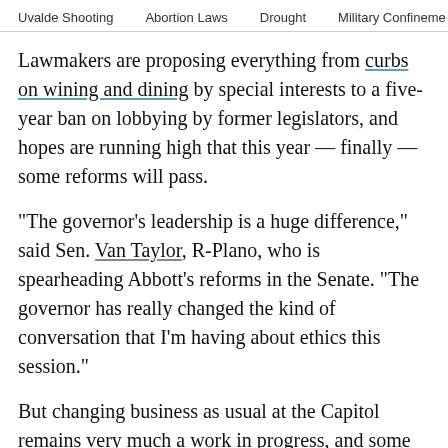Uvalde Shooting    Abortion Laws    Drought    Military Confinement
Lawmakers are proposing everything from curbs on wining and dining by special interests to a five-year ban on lobbying by former legislators, and hopes are running high that this year — finally — some reforms will pass.
“The governor’s leadership is a huge difference,” said Sen. Van Taylor, R-Plano, who is spearheading Abbott’s reforms in the Senate. “The governor has really changed the kind of conversation that I’m having about ethics this session.”
But changing business as usual at the Capitol remains very much a work in progress, and some of the specific ideas Abbott campaigned on — particularly those addressing financial conflicts of interest — are likely to change significantly as they get thrown into the legislative meat grinder.